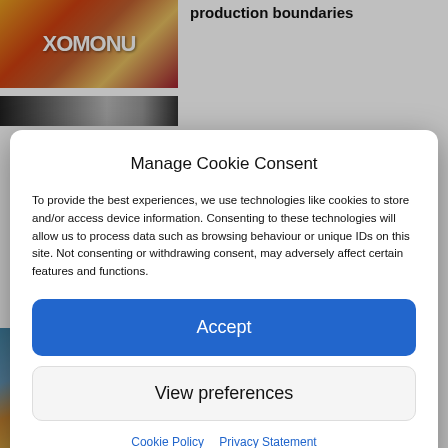[Figure (photo): Partial view of a studio set with colorful LED letters spelling something like XOMONU, with a floor and lighting equipment visible]
production boundaries
[Figure (photo): Narrow horizontal strip showing a partial blurred image]
Manage Cookie Consent
To provide the best experiences, we use technologies like cookies to store and/or access device information. Consenting to these technologies will allow us to process data such as browsing behaviour or unique IDs on this site. Not consenting or withdrawing consent, may adversely affect certain features and functions.
Accept
View preferences
Cookie Policy   Privacy Statement
[Figure (photo): Two people operating a film camera on a production set outdoors]
virtual production solution for TV and film